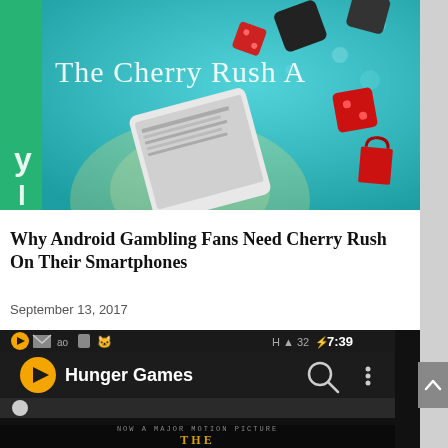[Figure (screenshot): Cherry Rush app promotional banner image showing a smartphone with casino dice (red and black) flying around, teal/cyan bokeh background, text reading 'The Cherry Rush A' partially visible, with a green app icon strip on the left side]
Why Android Gambling Fans Need Cherry Rush On Their Smartphones
September 13, 2017
[Figure (screenshot): Android smartphone screenshot showing a media player app with 'Hunger Games' in the title bar, orange play button icon, search icon, time display showing 14:06 and 11:11:21, status bar showing H, signal bars, 32, 7:39. Bottom portion shows a movie title card reading 'NOW A MAJOR MOTION PICTURE THE']